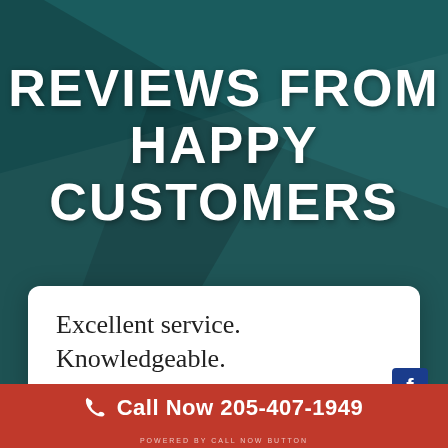REVIEWS FROM HAPPY CUSTOMERS
[Figure (infographic): Decorative divider with two horizontal white lines and a downward-pointing chevron (V shape) between them, on a dark teal background]
Excellent service. Knowledgeable.
Call Now 205-407-1949
POWERED BY CALL NOW BUTTON